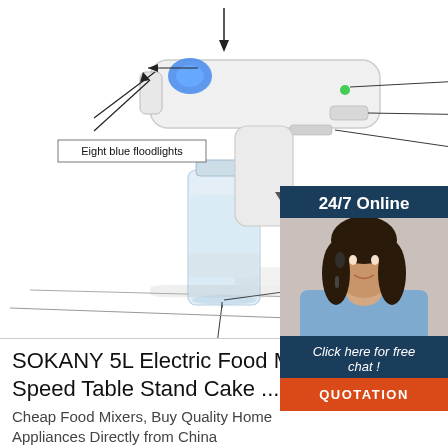[Figure (engineering-diagram): Annotated product diagram of a handheld electric spray disinfection gun with labeled parts: Eight blue floodlights, On Light, Spray size rotary switch, Machine switch (Strong/...), Built filter. A clear bottle of liquid is attached. Includes a reflection below the device.]
[Figure (photo): Dark-haired female customer service agent wearing a headset, smiling, overlaid on a dark blue banner reading '24/7 Online' with a call-to-action 'Click here for free chat!' and an orange QUOTATION button.]
SOKANY 5L Electric Food Mixer 6 Speed Table Stand Cake ...
Cheap Food Mixers, Buy Quality Home Appliances Directly from China